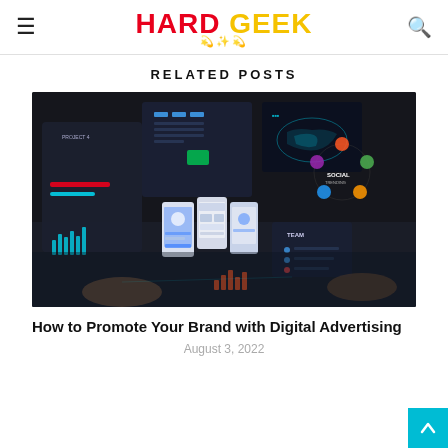HARD GEEK
RELATED POSTS
[Figure (photo): Dark themed digital advertising workspace with holographic UI displays, mobile mockups, world map, social media icons, and data charts on a dark table.]
How to Promote Your Brand with Digital Advertising
August 3, 2022